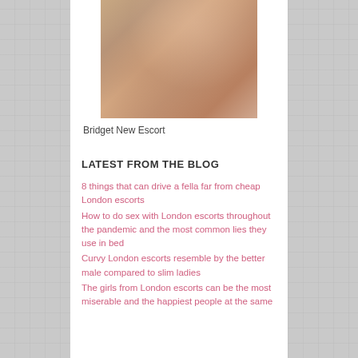[Figure (photo): A woman in lingerie lying on a bed, smiling at the camera]
Bridget New Escort
LATEST FROM THE BLOG
8 things that can drive a fella far from cheap London escorts
How to do sex with London escorts throughout the pandemic and the most common lies they use in bed
Curvy London escorts resemble by the better male compared to slim ladies
The girls from London escorts can be the most miserable and the happiest people at the same